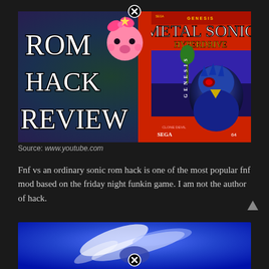[Figure (screenshot): YouTube thumbnail for a ROM Hack Review video featuring the text 'ROM HACK REVIEW' in large white Impact font on the left, a Kirby character in the center-top, and a Sega Genesis cartridge box for 'Metal Sonic Hyperdrive' on the right with Metal Sonic character art. A close/X button circle appears at the top center.]
Source: www.youtube.com
Fnf vs an ordinary sonic rom hack is one of the most popular fnf mod based on the friday night funkin game. I am not the author of hack.
[Figure (screenshot): Bottom portion of a blue-toned game screenshot showing what appears to be a Sonic-related scene with white light streaks, partially visible. A close/X button circle appears at the bottom center of the image.]